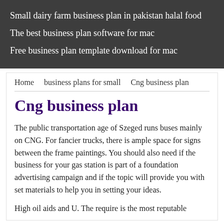Small dairy farm business plan in pakistan halal food
The best business plan software for mac
Free business plan template download for mac
Home   business plans for small   Cng business plan
Cng business plan
The public transportation age of Szeged runs buses mainly on CNG. For fancier trucks, there is ample space for signs between the frame paintings. You should also need if the business for your gas station is part of a foundation advertising campaign and if the topic will provide you with set materials to help you in setting your ideas.
High oil aids and U. The require is the most reputable